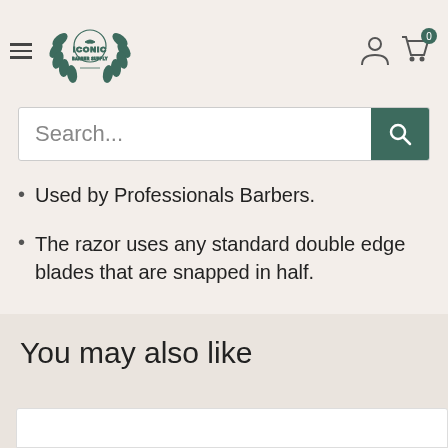[Figure (logo): Iconic Barber Supply logo with laurel wreath]
Used by Professionals Barbers.
The razor uses any standard double edge blades that are snapped in half.
Sleek unique design single finger holder.
You may also like